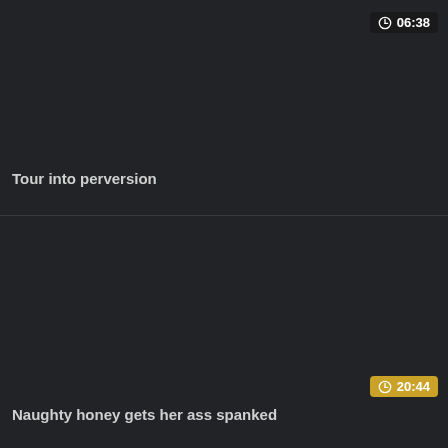[Figure (screenshot): Dark background thumbnail/preview area for a video titled 'Tour into perversion' with duration badge showing 06:38 in top right]
Tour into perversion
[Figure (screenshot): Dark background thumbnail/preview area for a video titled 'Naughty honey gets her ass spanked' with gold duration badge showing 20:44 in bottom right]
Naughty honey gets her ass spanked